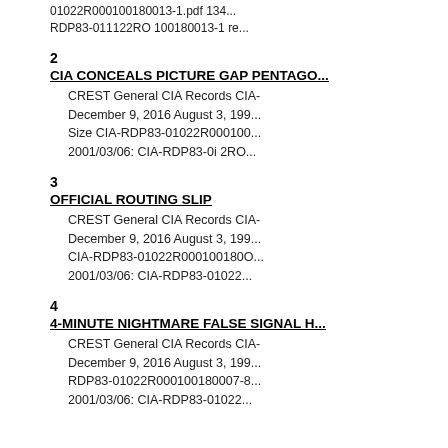01022R000100180013-1.pdf 134...
RDP83-011122RO 100180013-1 re...
2
CIA CONCEALS PICTURE GAP PENTAGO...
CREST General CIA Records CIA-
December 9, 2016 August 3, 199...
Size CIA-RDP83-01022R000100...
2001/03/06: CIA-RDP83-0i 2RO...
3
OFFICIAL ROUTING SLIP
CREST General CIA Records CIA-
December 9, 2016 August 3, 199...
CIA-RDP83-01022R000100180O...
2001/03/06: CIA-RDP83-01022...
4
4-MINUTE NIGHTMARE FALSE SIGNAL H...
CREST General CIA Records CIA-
December 9, 2016 August 3, 199...
RDP83-01022R000100180007-8...
2001/03/06: CIA-RDP83-01022...